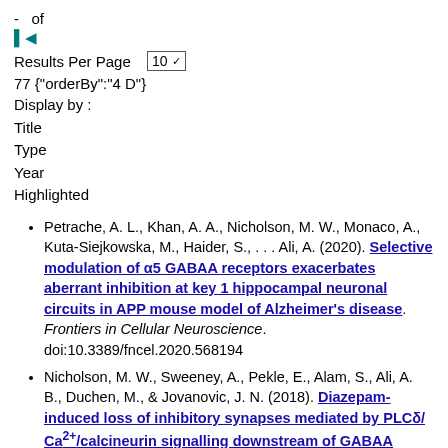- of
|◄
Results Per Page  10 ▾
77 {"orderBy":"4 D"}
Display by :
Title
Type
Year
Highlighted
Petrache, A. L., Khan, A. A., Nicholson, M. W., Monaco, A., Kuta-Siejkowska, M., Haider, S., . . . Ali, A. (2020). Selective modulation of α5 GABAA receptors exacerbates aberrant inhibition at key 1 hippocampal neuronal circuits in APP mouse model of Alzheimer's disease. Frontiers in Cellular Neuroscience. doi:10.3389/fncel.2020.568194
Nicholson, M. W., Sweeney, A., Pekle, E., Alam, S., Ali, A. B., Duchen, M., & Jovanovic, J. N. (2018). Diazepam-induced loss of inhibitory synapses mediated by PLCδ/Ca²⁺/calcineurin signalling downstream of GABAA receptors. Molecular Psychiatry, 1851-1867. doi:10.1038/s41380-018-0100-y
Nicholson, M. W., Broglia, G., Pekle, E., Ali, A. B., &